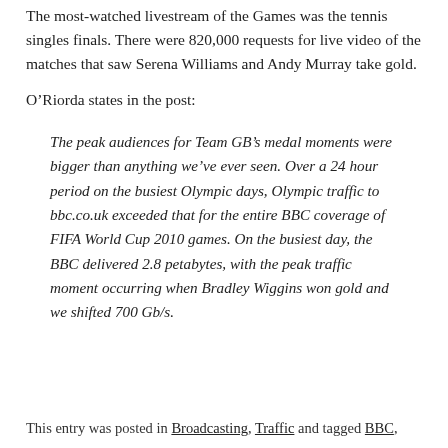The most-watched livestream of the Games was the tennis singles finals. There were 820,000 requests for live video of the matches that saw Serena Williams and Andy Murray take gold.
O’Riorda states in the post:
The peak audiences for Team GB’s medal moments were bigger than anything we’ve ever seen. Over a 24 hour period on the busiest Olympic days, Olympic traffic to bbc.co.uk exceeded that for the entire BBC coverage of FIFA World Cup 2010 games. On the busiest day, the BBC delivered 2.8 petabytes, with the peak traffic moment occurring when Bradley Wiggins won gold and we shifted 700 Gb/s.
This entry was posted in Broadcasting, Traffic and tagged BBC,